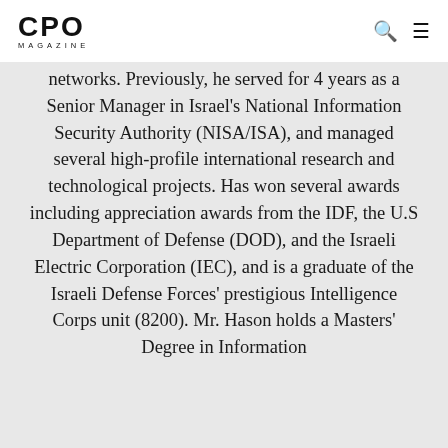CPO MAGAZINE
networks. Previously, he served for 4 years as a Senior Manager in Israel's National Information Security Authority (NISA/ISA), and managed several high-profile international research and technological projects. Has won several awards including appreciation awards from the IDF, the U.S Department of Defense (DOD), and the Israeli Electric Corporation (IEC), and is a graduate of the Israeli Defense Forces' prestigious Intelligence Corps unit (8200). Mr. Hason holds a Masters' Degree in Information